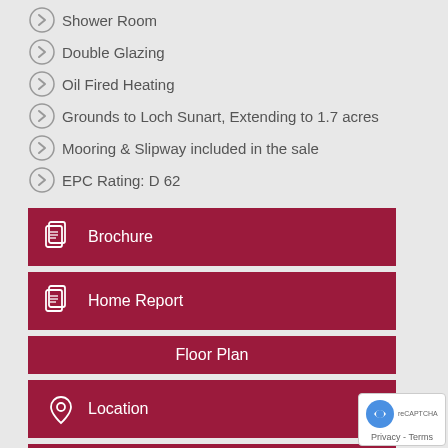Shower Room
Double Glazing
Oil Fired Heating
Grounds to Loch Sunart, Extending to 1.7 acres
Mooring & Slipway included in the sale
EPC Rating: D 62
Brochure
Home Report
Floor Plan
Location
Arrange a Viewing
Virtual Viewing